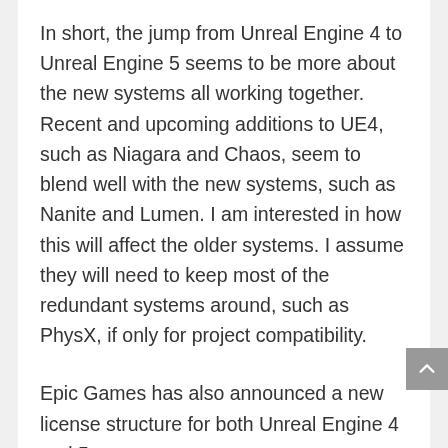In short, the jump from Unreal Engine 4 to Unreal Engine 5 seems to be more about the new systems all working together. Recent and upcoming additions to UE4, such as Niagara and Chaos, seem to blend well with the new systems, such as Nanite and Lumen. I am interested in how this will affect the older systems. I assume they will need to keep most of the redundant systems around, such as PhysX, if only for project compatibility.
Epic Games has also announced a new license structure for both Unreal Engine 4 and 5.
Revenue under $1 million USD (cumulative)